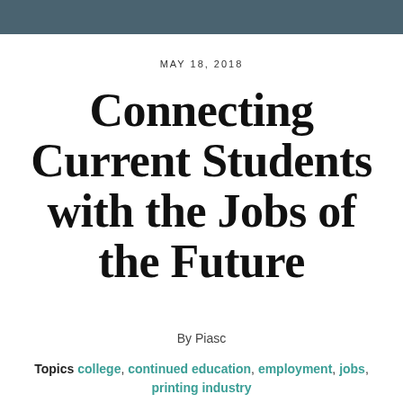MAY 18, 2018
Connecting Current Students with the Jobs of the Future
By Piasc
Topics college, continued education, employment, jobs, printing industry